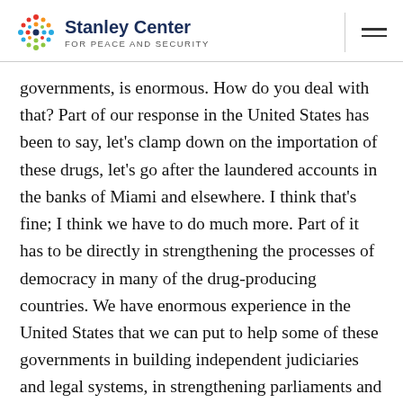Stanley Center FOR PEACE AND SECURITY
governments, is enormous. How do you deal with that? Part of our response in the United States has been to say, let's clamp down on the importation of these drugs, let's go after the laundered accounts in the banks of Miami and elsewhere. I think that's fine; I think we have to do much more. Part of it has to be directly in strengthening the processes of democracy in many of the drug-producing countries. We have enormous experience in the United States that we can put to help some of these governments in building independent judiciaries and legal systems, in strengthening parliaments and legislative processes. If we did that, we would also find that we would be conquering corruption and narco-corruption.